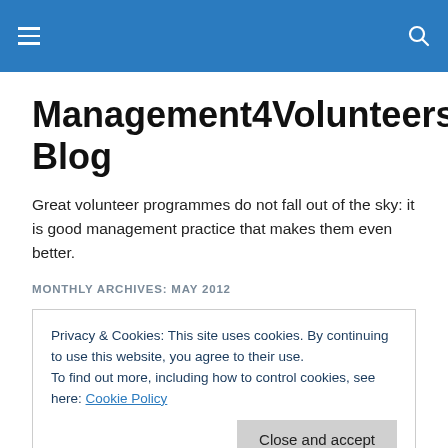Management4Volunteers Blog
Management4Volunteers Blog
Great volunteer programmes do not fall out of the sky: it is good management practice that makes them even better.
MONTHLY ARCHIVES: MAY 2012
Privacy & Cookies: This site uses cookies. By continuing to use this website, you agree to their use.
To find out more, including how to control cookies, see here: Cookie Policy
Development work-stream, charged with creating a